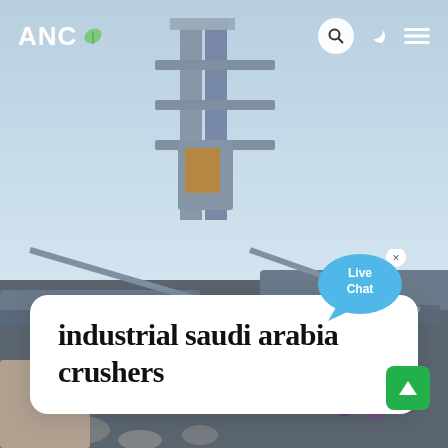[Figure (photo): Industrial crusher/conveyor machinery and steel framework, outdoor industrial site, blue sky background]
ANC (with leaf logo icon), navigation icons: search, moon/theme toggle, hamburger menu
industrial saudi arabia crushers
[Figure (infographic): Live Chat speech bubble in blue with 'Live Chat' text and an X close button]